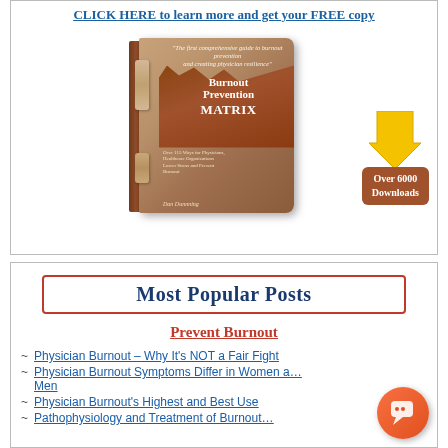CLICK HERE to learn more and get your FREE copy
[Figure (illustration): Book cover for 'Burnout Prevention MATRIX' with scrolls, a yellow download arrow, and a brown badge reading 'Over 6000 Downloads']
Most Popular Posts
Prevent Burnout
Physician Burnout – Why It's NOT a Fair Fight
Physician Burnout Symptoms Differ in Women and Men
Physician Burnout's Highest and Best Use
Pathophysiology and Treatment of Burnout (truncated)